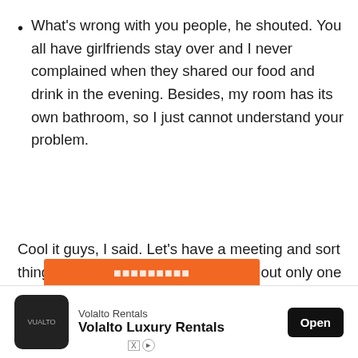What's wrong with you people, he shouted. You all have girlfriends stay over and I never complained when they shared our food and drink in the evening. Besides, my room has its own bathroom, so I just cannot understand your problem.
Cool it guys, I said. Let's have a meeting and sort things out as we always do. It turned out only one roommate was totally against the idea, and the rest of us just wanted the boyfriend to share the rent and expenses.
[Figure (screenshot): Advertisement banner for Volalto Rentals / Volalto Luxury Rentals with an orange button partially visible above and the ad unit below showing logo, brand name, headline, and Open button.]